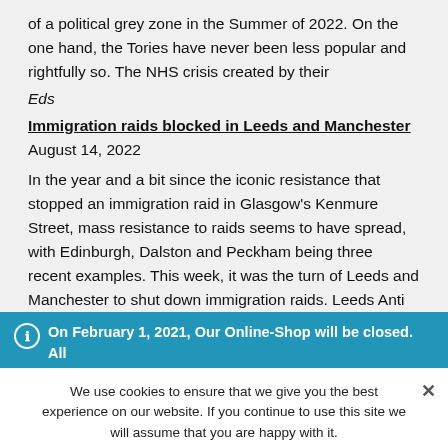of a political grey zone in the Summer of 2022. On the one hand, the Tories have never been less popular and rightfully so. The NHS crisis created by their
Eds
Immigration raids blocked in Leeds and Manchester August 14, 2022
In the year and a bit since the iconic resistance that stopped an immigration raid in Glasgow's Kenmure Street, mass resistance to raids seems to have spread, with Edinburgh, Dalston and Peckham being three recent examples. This week, it was the turn of Leeds and Manchester to shut down immigration raids. Leeds Anti Raids Action
On February 1, 2021, Our Online-Shop will be closed. All orders until January 31 will be delivered
Dismiss
We use cookies to ensure that we give you the best experience on our website. If you continue to use this site we will assume that you are happy with it.